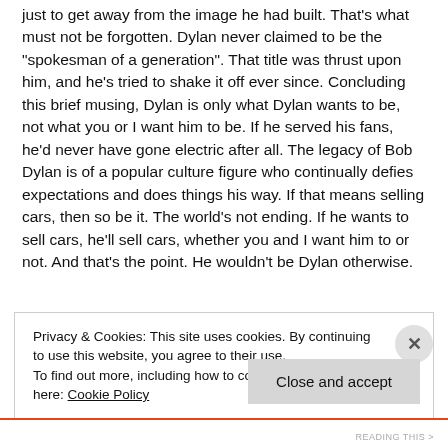just to get away from the image he had built. That's what must not be forgotten. Dylan never claimed to be the "spokesman of a generation". That title was thrust upon him, and he's tried to shake it off ever since. Concluding this brief musing, Dylan is only what Dylan wants to be, not what you or I want him to be. If he served his fans, he'd never have gone electric after all. The legacy of Bob Dylan is of a popular culture figure who continually defies expectations and does things his way. If that means selling cars, then so be it. The world's not ending. If he wants to sell cars, he'll sell cars, whether you and I want him to or not. And that's the point. He wouldn't be Dylan otherwise.
Privacy & Cookies: This site uses cookies. By continuing to use this website, you agree to their use.
To find out more, including how to control cookies, see here: Cookie Policy
Close and accept